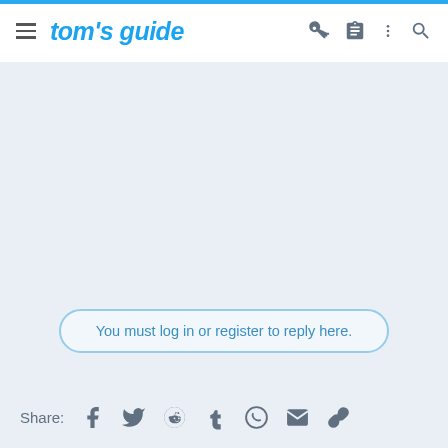tom's guide
You must log in or register to reply here.
Share: